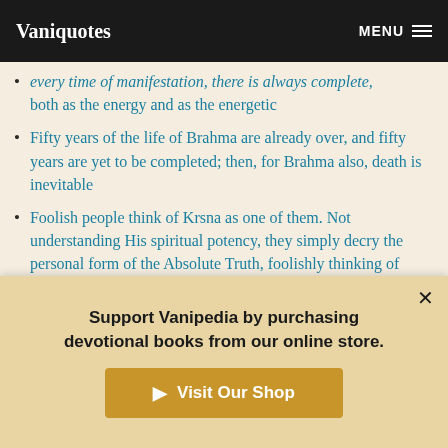Vaniquotes | MENU
...every time of manifestation, there is always complete, both as the energy and as the energetic
Fifty years of the life of Brahma are already over, and fifty years are yet to be completed; then, for Brahma also, death is inevitable
Foolish people think of Krsna as one of them. Not understanding His spiritual potency, they simply decry the personal form of the Absolute Truth, foolishly thinking of themselves as jnanis cognizant of the complete truth
For complete happy society, this Krsna consciousness movement is essential. All intelligent persons, they should
Support Vanipedia by purchasing devotional books from our online store.
Visit Our Shop